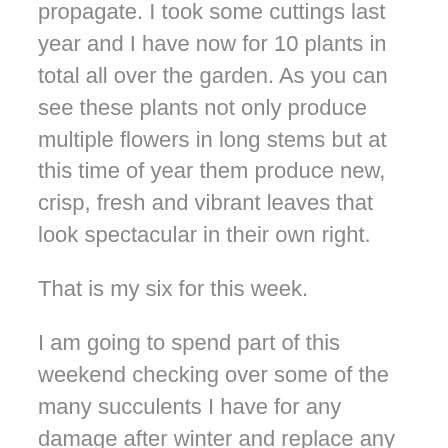propagate. I took some cuttings last year and I have now for 10 plants in total all over the garden. As you can see these plants not only produce multiple flowers in long stems but at this time of year them produce new, crisp, fresh and vibrant leaves that look spectacular in their own right.
That is my six for this week.
I am going to spend part of this weekend checking over some of the many succulents I have for any damage after winter and replace any missing labels if I am confident I can identify them with confidence.
If you want to write a SOS blog it is not that difficult. As always to find out how six on Saturday works please follow the following link The Propagator. The don of Six